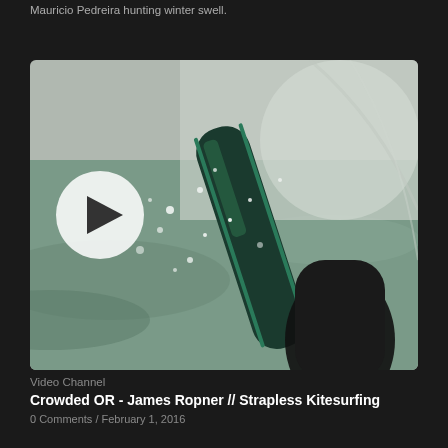Mauricio Pedreira hunting winter swell.
[Figure (photo): Video thumbnail showing a close-up GoPro-style shot of a kitesurfer's foot on a teal surfboard with ocean spray and water droplets, with a play button overlay on the left side]
Video Channel
Crowded OR - James Ropner // Strapless Kitesurfing
0 Comments / February 1, 2016